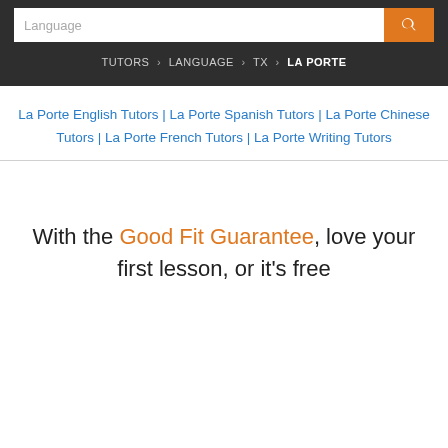Language
TUTORS › LANGUAGE › TX › LA PORTE
La Porte English Tutors | La Porte Spanish Tutors | La Porte Chinese Tutors | La Porte French Tutors | La Porte Writing Tutors
With the Good Fit Guarantee, love your first lesson, or it's free